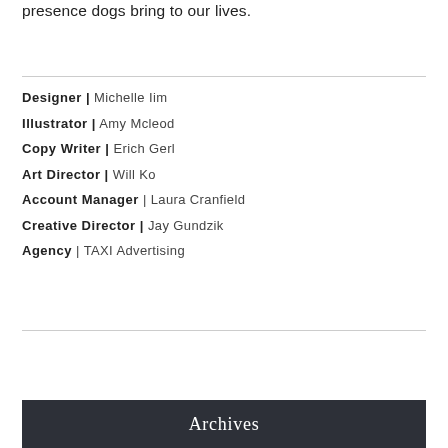presence dogs bring to our lives.
Designer | Michelle Iim
Illustrator | Amy Mcleod
Copy Writer | Erich Gerl
Art Director | Will Ko
Account Manager | Laura Cranfield
Creative Director | Jay Gundzik
Agency | TAXI Advertising
Archives